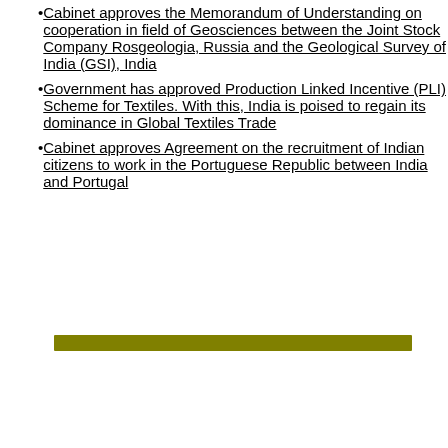Cabinet approves the Memorandum of Understanding on cooperation in field of Geosciences between the Joint Stock Company Rosgeologia, Russia and the Geological Survey of India (GSI), India
Government has approved Production Linked Incentive (PLI) Scheme for Textiles. With this, India is poised to regain its dominance in Global Textiles Trade
Cabinet approves Agreement on the recruitment of Indian citizens to work in the Portuguese Republic between India and Portugal